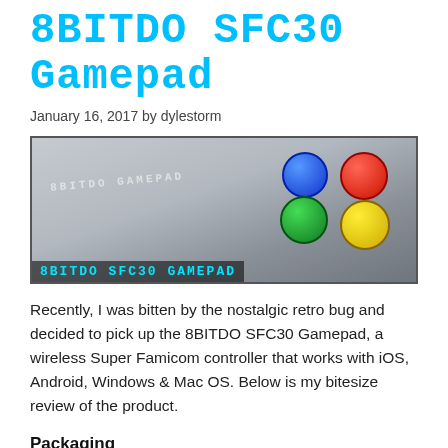8BITDO SFC30 Gamepad
January 16, 2017 by dylestorm
[Figure (photo): Close-up photo of the 8BITDO SFC30 Gamepad controller showing the gray body with colored SNES-style buttons (blue, red, green, yellow) and the text '8BITDO GAMEPAD' on the controller. A label at the bottom reads '8BITDO SFC30 GAMEPAD'.]
Recently, I was bitten by the nostalgic retro bug and decided to pick up the 8BITDO SFC30 Gamepad, a wireless Super Famicom controller that works with iOS, Android, Windows & Mac OS. Below is my bitesize review of the product.
Packaging